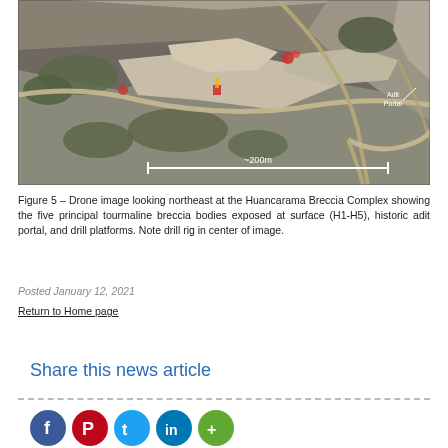[Figure (photo): Aerial drone image looking northeast at the Huancarama Breccia Complex. Shows rocky mountainous terrain with exposed breccia bodies, winding roads/tracks, drill platforms, and an Adit Portal labeled in the upper right. A scale bar labeled ~200m spans the bottom of the image.]
Figure 5 – Drone image looking northeast at the Huancarama Breccia Complex showing the five principal tourmaline breccia bodies exposed at surface (H1-H5), historic adit portal, and drill platforms. Note drill rig in center of image.
Posted January 12, 2021
Return to Home page
Share this news article